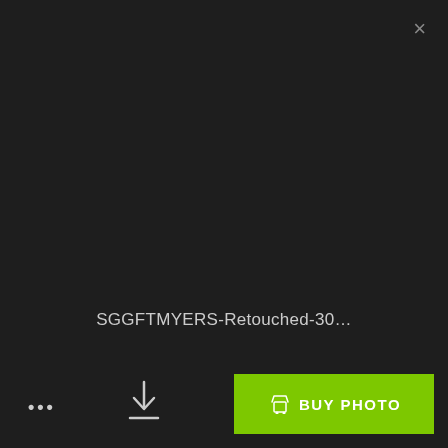[Figure (screenshot): Dark background UI overlay showing a photo viewer/lightbox interface with close button, filename, and buy photo button]
×
SGGFTMYERS-Retouched-30…
•••
[Figure (other): Download icon (arrow pointing down)]
BUY PHOTO